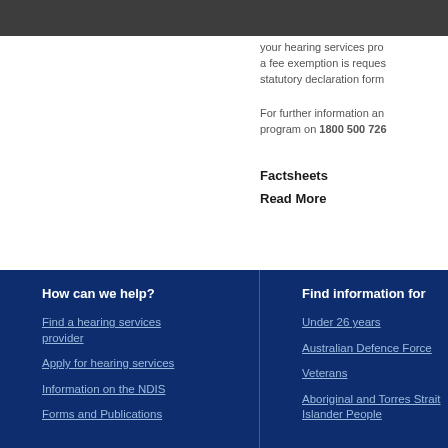your hearing services pro... a fee exemption is reques... statutory declaration form...
For further information an... program on 1800 500 726
Factsheets
Read More
How can we help?
Find a hearing services provider
Apply for hearing services
Information on the NDIS
Forms and Publications
Find information for
Under 26 years
Australian Defence Force
Veterans
Aboriginal and Torres Strait Islander People